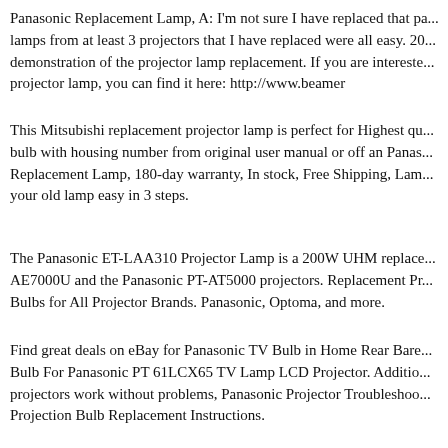Panasonic Replacement Lamp, A: I'm not sure I have replaced that pa... lamps from at least 3 projectors that I have replaced were all easy. 20... demonstration of the projector lamp replacement. If you are intereste... projector lamp, you can find it here: http://www.beamer
This Mitsubishi replacement projector lamp is perfect for Highest qu... bulb with housing number from original user manual or off an Panas... Replacement Lamp, 180-day warranty, In stock, Free Shipping, Lam... your old lamp easy in 3 steps.
The Panasonic ET-LAA310 Projector Lamp is a 200W UHM replace... AE7000U and the Panasonic PT-AT5000 projectors. Replacement Pr... Bulbs for All Projector Brands. Panasonic, Optoma, and more.
Find great deals on eBay for Panasonic TV Bulb in Home Rear Bare... Bulb For Panasonic PT 61LCX65 TV Lamp LCD Projector. Additio... projectors work without problems, Panasonic Projector Troubleshoo... Projection Bulb Replacement Instructions.